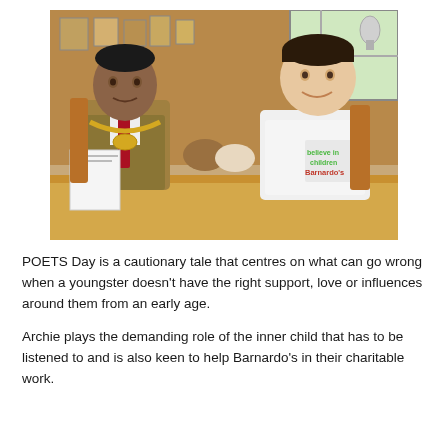[Figure (photo): A man in a suit wearing a mayoral chain shaking hands with a young boy wearing a white Barnardo's 'believe in children' t-shirt. They are seated at a wooden table in an official-looking room with plaques and trophies on the wall behind them. The man holds papers in his left hand.]
POETS Day is a cautionary tale that centres on what can go wrong when a youngster doesn't have the right support, love or influences around them from an early age.
Archie plays the demanding role of the inner child that has to be listened to and is also keen to help Barnardo's in their charitable work.